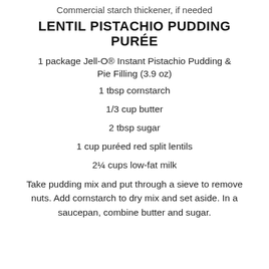Commercial starch thickener, if needed
LENTIL PISTACHIO PUDDING PURÉE
1 package Jell-O® Instant Pistachio Pudding & Pie Filling (3.9 oz)
1 tbsp cornstarch
1/3 cup butter
2 tbsp sugar
1 cup puréed red split lentils
2¼ cups low-fat milk
Take pudding mix and put through a sieve to remove nuts. Add cornstarch to dry mix and set aside. In a saucepan, combine butter and sugar.